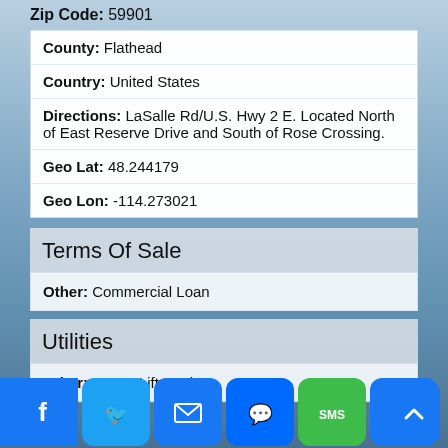Zip Code: 59901
| County: | Flathead |
| Country: | United States |
| Directions: | LaSalle Rd/U.S. Hwy 2 E. Located North of East Reserve Drive and South of Rose Crossing. |
| Geo Lat: | 48.244179 |
| Geo Lon: | -114.273021 |
Terms Of Sale
Other: Commercial Loan
Utilities
Other: Sewer Lift Station
Facebook, Twitter, Email, Messenger, SMS, Share